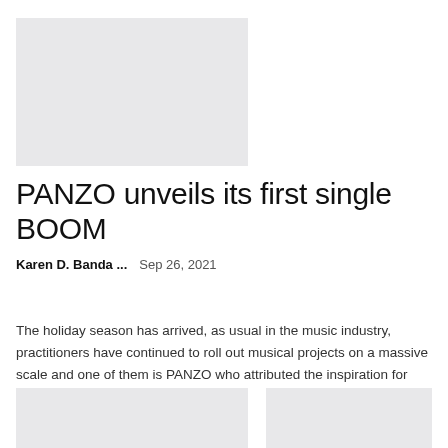[Figure (photo): Gray placeholder image at top left]
PANZO unveils its first single BOOM
Karen D. Banda ...    Sep 26, 2021
The holiday season has arrived, as usual in the music industry, practitioners have continued to roll out musical projects on a massive scale and one of them is PANZO who attributed the inspiration for their new single to his roots and his...
[Figure (photo): Gray placeholder image at bottom left]
[Figure (photo): Gray placeholder image at bottom right]